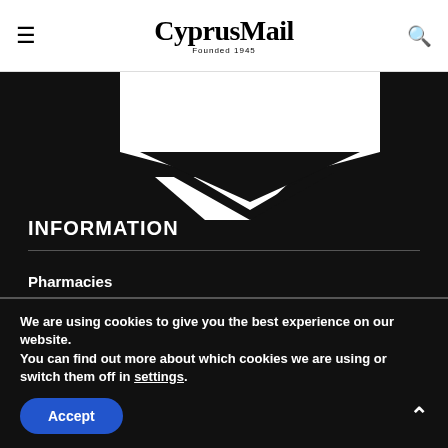CyprusMail Founded 1945
[Figure (illustration): Dark background with a white pentagon/badge shape and chevron arrow pointing down]
INFORMATION
Pharmacies
Weekend Doctors
Airport Information
We are using cookies to give you the best experience on our website.
You can find out more about which cookies we are using or switch them off in settings.
Accept